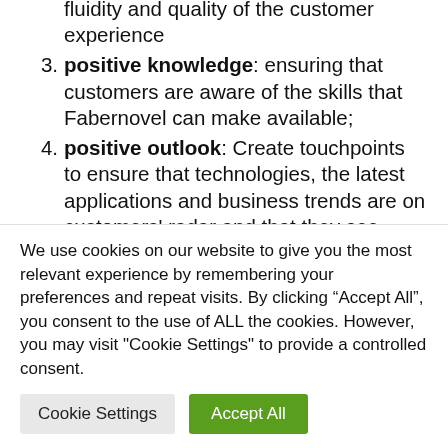fluidity and quality of the customer experience
positive knowledge: ensuring that customers are aware of the skills that Fabernovel can make available;
positive outlook: Create touchpoints to ensure that technologies, the latest applications and business trends are on customers' radar and that they see them as opportunities.
We use cookies on our website to give you the most relevant experience by remembering your preferences and repeat visits. By clicking “Accept All”, you consent to the use of ALL the cookies. However, you may visit "Cookie Settings" to provide a controlled consent.